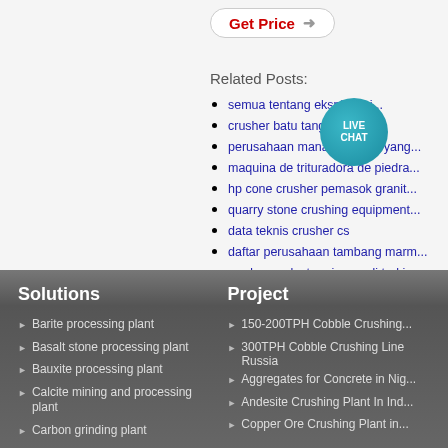[Figure (other): Get Price button with arrow]
Related Posts:
semua tentang eksploitasi...
crusher batu tangan a...
perusahaan mana di ghana yang...
maquina de trituradora de piedra...
hp cone crusher pemasok granit...
quarry stone crushing equipment...
data teknis crusher cs
daftar perusahaan tambang marm...
produsen plester gipsum di turki...
menggambar crusher plate
Solutions
Barite processing plant
Basalt stone processing plant
Bauxite processing plant
Calcite mining and processing plant
Carbon grinding plant
Clay processing plant
Coal beneficiation plant
Project
150-200TPH Cobble Crushing...
300TPH Cobble Crushing Line Russia
Aggregates for Concrete in Nig...
Andesite Crushing Plant In Ind...
Copper Ore Crushing Plant in...